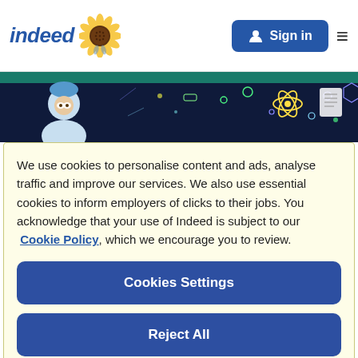[Figure (screenshot): Indeed website header with logo, sunflower icon, Sign in button, and hamburger menu]
[Figure (illustration): Dark banner illustration showing a person looking at a document with scientific/space themed icons]
We use cookies to personalise content and ads, analyse traffic and improve our services. We also use essential cookies to inform employers of clicks to their jobs. You acknowledge that your use of Indeed is subject to our Cookie Policy, which we encourage you to review.
Cookies Settings
Reject All
Accept All Cookies